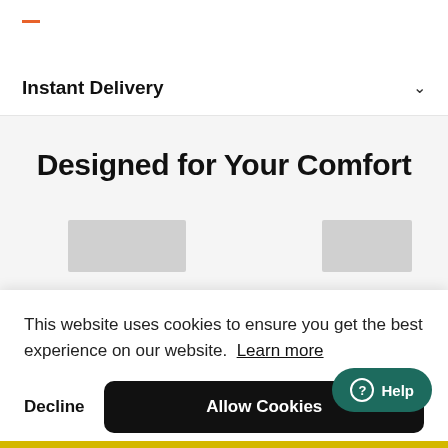Instant Delivery
Designed for Your Comfort
[Figure (screenshot): Two grey placeholder image boxes partially visible]
This website uses cookies to ensure you get the best experience on our website. Learn more
Decline
Allow Cookies
Help